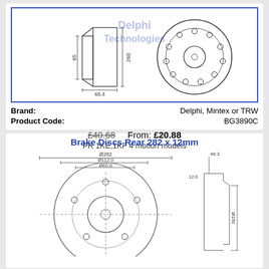[Figure (engineering-diagram): Technical drawing of a brake disc (front) showing side profile with dimensions: 65mm, 260mm, 48.4mm, and a front view showing the disc with bolt holes. Delphi Technologies watermark visible.]
Brand: Delphi, Mintex or TRW
Product Code: BG3890C
£40.68  From: £20.88
PR 1KE,1KF 4 motion models
Brake Discs Rear 282 x 12mm
[Figure (engineering-diagram): Technical drawing of rear brake disc 282 x 12mm. Front face view showing bolt circle pattern and centre hole. Side profile with dimensions: Ø282, Ø112.0, Ø65.0, 12.0mm width, 48.3mm hat depth, Ø150 centre bore, overall height 150mm.]